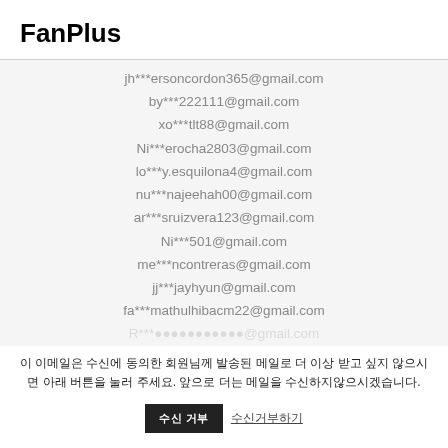FanPlus
jh***ersoncordon365@gmail.com
by***222111@gmail.com
xo***tlt88@gmail.com
Ni***erocha2803@gmail.com
lo***y.esquilona4@gmail.com
nu***najeehah00@gmail.com
ar***sruizvera123@gmail.com
Ni***501@gmail.com
me***ncontreras@gmail.com
jj***jayhyun@gmail.com
fa***mathulhibacm22@gmail.com
R***... (partially visible)
이 이메일은 수신에 동의한 회원님께 발송된 메일로 더 이상 받고 싶지 않으시면 아래 버튼을 눌러 주세. 앞으로 더는 메일을 수신하지않으시겠습니다.
수신 거부   수신거부하기